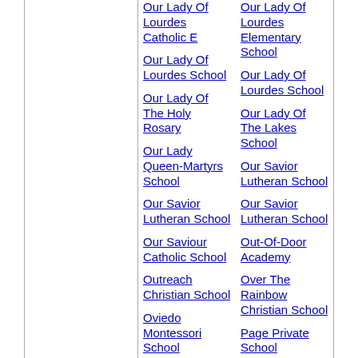Our Lady Of Lourdes Catholic E
Our Lady Of Lourdes Elementary School
Our Lady Of Lourdes School
Our Lady Of Lourdes School
Our Lady Of The Holy Rosary
Our Lady Of The Lakes School
Our Lady Queen-Martyrs School
Our Savior Lutheran School
Our Savior Lutheran School
Our Savior Lutheran School
Our Saviour Catholic School
Out-Of-Door Academy
Outreach Christian School
Over The Rainbow Christian School
Oviedo Montessori School
Page Private School
Page Private School
Paladin Academy
Paladin Academy
Paladin Academy
Paladin Academy
Paladin At Chesterbrook Academy
Palm Bay Baptist
Palm Bay Christian